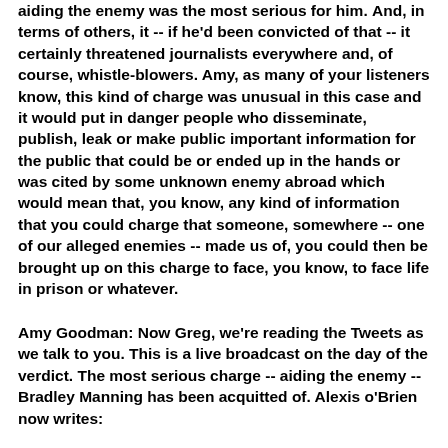aiding the enemy was the most serious for him. And, in terms of others, it -- if he'd been convicted of that -- it certainly threatened journalists everywhere and, of course, whistle-blowers.  Amy, as many of your listeners know, this kind of charge was unusual in this case and it would put in danger people who disseminate, publish, leak or make public important information for the public that could be or ended up in the hands or was cited by some unknown enemy abroad which would mean that, you know, any kind of information that you could charge that someone, somewhere -- one of our alleged enemies -- made us of, you could then be brought up on this charge to face, you know, to face life in prison or whatever.
Amy Goodman:  Now Greg, we're reading the Tweets as we talk to you.  This is a live broadcast on the day of the verdict.  The most serious charge -- aiding the enemy -- Bradley Manning has been acquitted of.  Alexis o'Brien now writes: